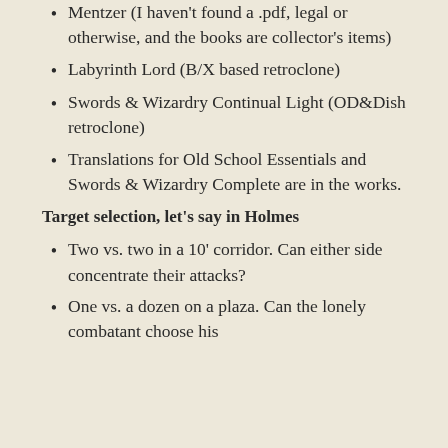Mentzer (I haven't found a .pdf, legal or otherwise, and the books are collector's items)
Labyrinth Lord (B/X based retroclone)
Swords & Wizardry Continual Light (OD&Dish retroclone)
Translations for Old School Essentials and Swords & Wizardry Complete are in the works.
Target selection, let's say in Holmes
Two vs. two in a 10' corridor. Can either side concentrate their attacks?
One vs. a dozen on a plaza. Can the lonely combatant choose his